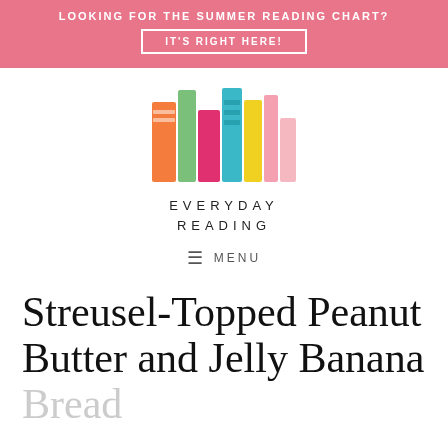LOOKING FOR THE SUMMER READING CHART? IT'S RIGHT HERE!
[Figure (logo): Everyday Reading blog logo with colorful illustrated books]
EVERYDAY READING
≡ MENU
Streusel-Topped Peanut Butter and Jelly Banana Bread